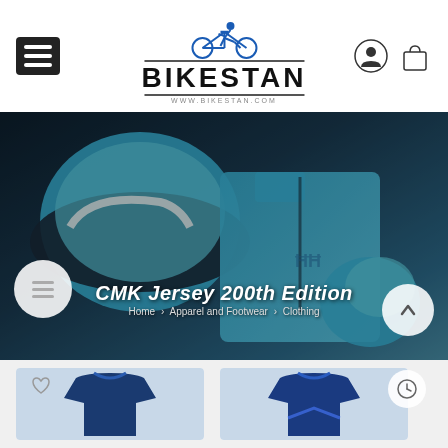[Figure (logo): Bikestan logo with cyclist silhouette in blue, bold text BIKESTAN and URL www.bikestan.com]
[Figure (photo): Hero banner showing blue cycling gear including helmet, jersey, gloves on dark background. Overlay text: CMK Jersey 200th Edition. Breadcrumb: Home > Apparel and Footwear > Clothing]
CMK Jersey 200th Edition
Home > Apparel and Footwear > Clothing
[Figure (photo): Product cards showing blue cycling jerseys at bottom of page]